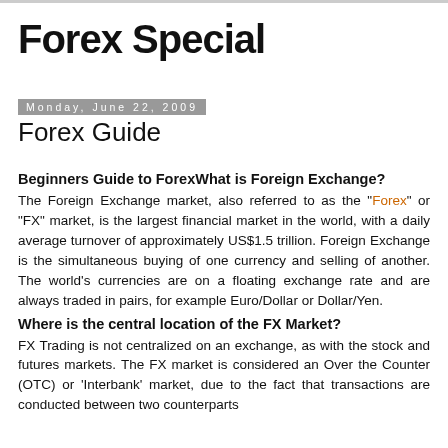Forex Special
Monday, June 22, 2009
Forex Guide
Beginners Guide to ForexWhat is Foreign Exchange?
The Foreign Exchange market, also referred to as the "Forex" or "FX" market, is the largest financial market in the world, with a daily average turnover of approximately US$1.5 trillion. Foreign Exchange is the simultaneous buying of one currency and selling of another. The world's currencies are on a floating exchange rate and are always traded in pairs, for example Euro/Dollar or Dollar/Yen.
Where is the central location of the FX Market?
FX Trading is not centralized on an exchange, as with the stock and futures markets. The FX market is considered an Over the Counter (OTC) or 'Interbank' market, due to the fact that transactions are conducted between two counterparts